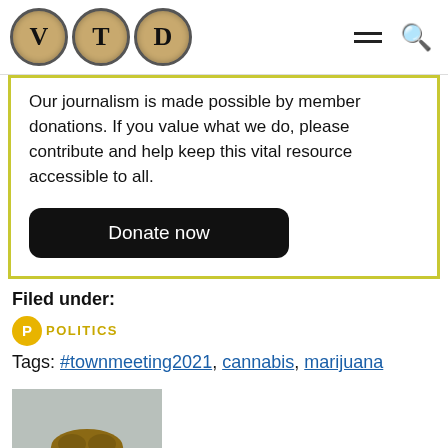VTD logo with navigation icons
Our journalism is made possible by member donations. If you value what we do, please contribute and help keep this vital resource accessible to all.
Donate now
Filed under:
POLITICS
Tags: #townmeeting2021, cannabis, marijuana
[Figure (photo): Headshot of a young man with curly brown hair and glasses, wearing a light blue shirt, against a light gray background.]